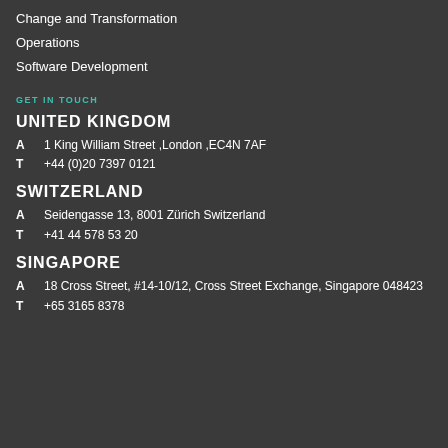Change and Transformation
Operations
Software Development
GET IN TOUCH
UNITED KINGDOM
A  1 King William Street ,London ,EC4N 7AF
T  +44 (0)20 7397 0121
SWITZERLAND
A  Seidengasse 13, 8001 Zürich Switzerland
T  +41 44 578 53 20
SINGAPORE
A  18 Cross Street, #14-10/12, Cross Street Exchange, Singapore 048423
T  +65 3165 8378